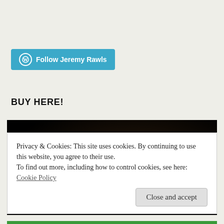[Figure (other): WordPress Follow button — cyan/teal rounded button with WordPress circle icon and text 'Follow Jeremy Rawls']
BUY HERE!
[Figure (photo): Dark/black book cover image with large serif text 'Jeremy Rawls' in tan/copper color]
Privacy & Cookies: This site uses cookies. By continuing to use this website, you agree to their use.
To find out more, including how to control cookies, see here: Cookie Policy
Close and accept